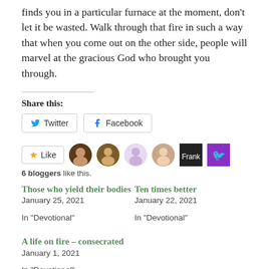finds you in a particular furnace at the moment, don't let it be wasted. Walk through that fire in such a way that when you come out on the other side, people will marvel at the gracious God who brought you through.
Share this:
Twitter  Facebook
Like  6 bloggers like this.
Those who yield their bodies
January 25, 2021
In "Devotional"
Ten times better
January 22, 2021
In "Devotional"
A life on fire – consecrated
January 1, 2021
In "Devotional"